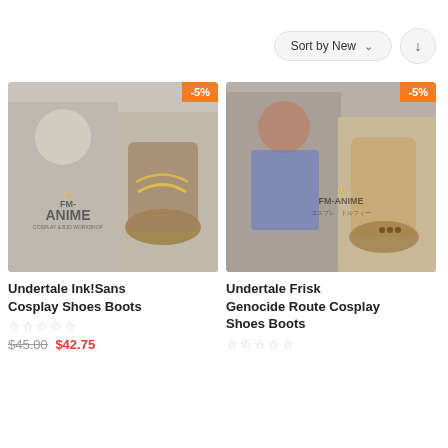Sort by New ↓
[Figure (photo): Undertale Ink!Sans cosplay shoes boots product image with FM-ANIME watermark, showing character artwork and actual boots, with orange -5% discount badge]
Undertale Ink!Sans Cosplay Shoes Boots
☆☆☆☆☆
$45.00  $42.75
[Figure (photo): Undertale Frisk Genocide Route cosplay shoes boots product image with FM-ANIME watermark, showing character artwork and actual boots, with orange -5% discount badge]
Undertale Frisk Genocide Route Cosplay Shoes Boots
☆☆☆☆☆